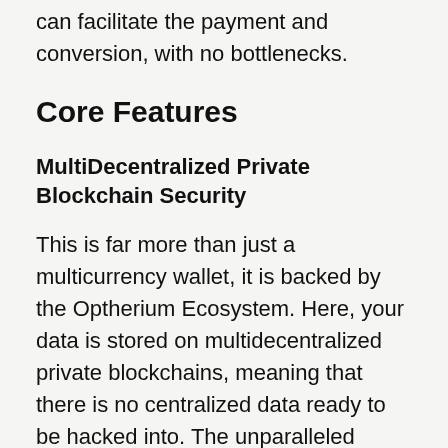can facilitate the payment and conversion, with no bottlenecks.
Core Features
MultiDecentralized Private Blockchain Security
This is far more than just a multicurrency wallet, it is backed by the Optherium Ecosystem. Here, your data is stored on multidecentralized private blockchains, meaning that there is no centralized data ready to be hacked into. The unparalleled multisecure technology itself incorporates not just this, but also multisignature transactions,